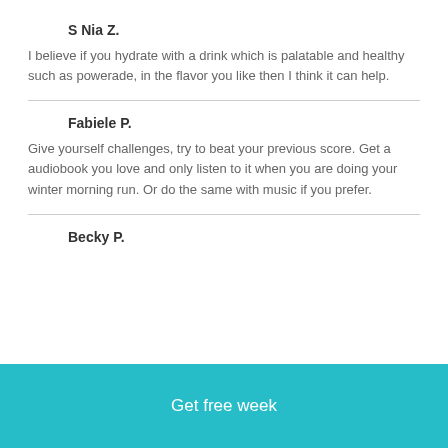S Nia Z.
I believe if you hydrate with a drink which is palatable and healthy such as powerade, in the flavor you like then I think it can help.
Fabiele P.
Give yourself challenges, try to beat your previous score. Get a audiobook you love and only listen to it when you are doing your winter morning run. Or do the same with music if you prefer.
Becky P.
Get free week